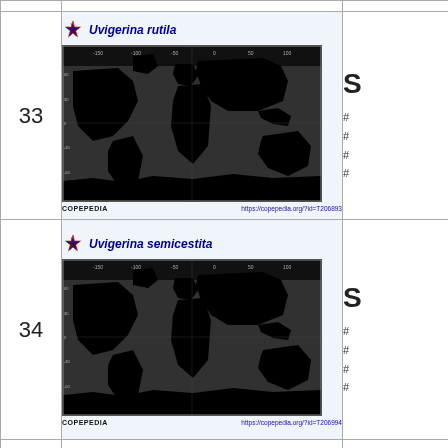| # | Distribution Map | Info |
| --- | --- | --- |
| 33 | Uvigerina rutila [map from COPEPEDIA] | S
#
#
#
# |
| 34 | Uvigerina semicestita [map from COPEPEDIA] | S
#
#
#
# |